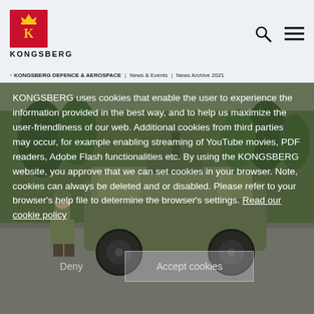[Figure (logo): Kongsberg company logo with red emblem and KONGSBERG text]
KONGSBERG DEFENCE & AEROSPACE | News & Events | News Archive 2021
KONGSBERG uses cookies that enable the user to experience the information provided in the best way, and to help us maximize the user-friendliness of our web. Additional cookies from third parties may occur, for example enabling streaming of YouTube movies, PDF readers, Adobe Flash functionalities etc. By using the KONGSBERG website, you approve that we can set cookies in your browser. Note, cookies can always be deleted and or disabled. Please refer to your browser's help file to determine the browser's settings. Read our cookie policy
[Figure (photo): Military soldier standing next to an armored military vehicle (JLTV) on a paved surface with trees in background]
Deny
Accept cookies